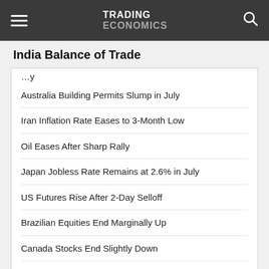TRADING ECONOMICS
India Balance of Trade
Australia Building Permits Slump in July
Iran Inflation Rate Eases to 3-Month Low
Oil Eases After Sharp Rally
Japan Jobless Rate Remains at 2.6% in July
US Futures Rise After 2-Day Selloff
Brazilian Equities End Marginally Up
Canada Stocks End Slightly Down
Italian Stocks Close at 1-Month Low
South Africa Stocks End at Over 3-Week Low